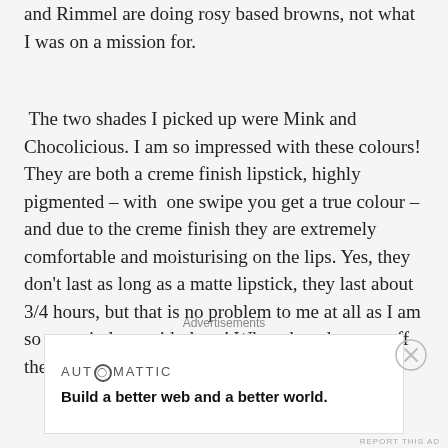and Rimmel are doing rosy based browns, not what I was on a mission for.
The two shades I picked up were Mink and Chocolicious. I am so impressed with these colours! They are both a creme finish lipstick, highly pigmented – with one swipe you get a true colour – and due to the creme finish they are extremely comfortable and moisturising on the lips. Yes, they don't last as long as a matte lipstick, they last about 3/4 hours, but that is no problem to me at all as I am so so so in love with these! When they do wear off they fade off the lips, not becoming patchy in the
Advertisements
[Figure (other): Automattic advertisement banner: 'Build a better web and a better world.']